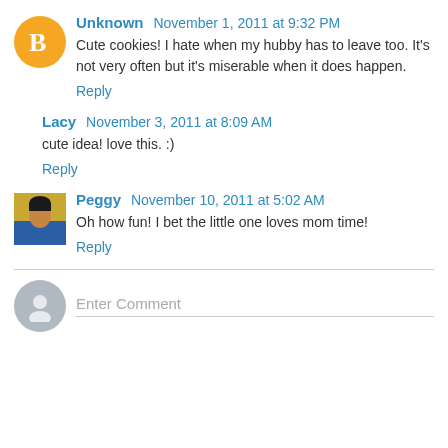Unknown November 1, 2011 at 9:32 PM
Cute cookies! I hate when my hubby has to leave too. It's not very often but it's miserable when it does happen.
Reply
Lacy November 3, 2011 at 8:09 AM
cute idea! love this. :)
Reply
Peggy November 10, 2011 at 5:02 AM
Oh how fun! I bet the little one loves mom time!
Reply
Enter Comment